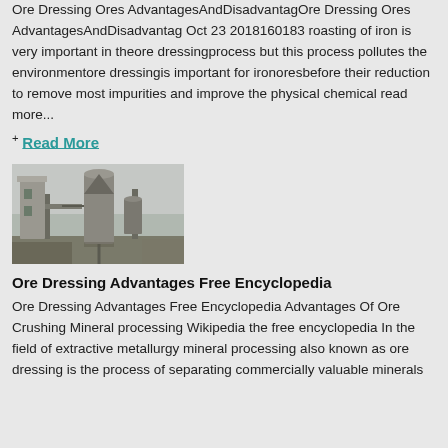Ore Dressing Ores AdvantagesAndDisadvantagOre Dressing Ores AdvantagesAndDisadvantag Oct 23 2018160183 roasting of iron is very important in theore dressingprocess but this process pollutes the environmentore dressingis important for ironoresbefore their reduction to remove most impurities and improve the physical chemical read more...
+ Read More
[Figure (photo): Industrial ore dressing facility with large cylindrical processing equipment and structural framework]
Ore Dressing Advantages Free Encyclopedia
Ore Dressing Advantages Free Encyclopedia Advantages Of Ore Crushing Mineral processing Wikipedia the free encyclopedia In the field of extractive metallurgy mineral processing also known as ore dressing is the process of separating commercially valuable minerals